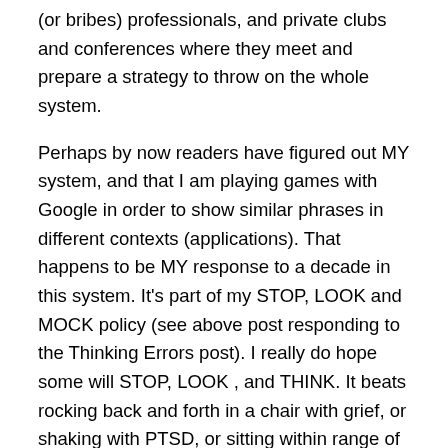(or bribes) professionals, and private clubs and conferences where they meet and prepare a strategy to throw on the whole system.
Perhaps by now readers have figured out MY system, and that I am playing games with Google in order to show similar phrases in different contexts (applications). That happens to be MY response to a decade in this system. It's part of my STOP, LOOK and MOCK policy (see above post responding to the Thinking Errors post). I really do hope some will STOP, LOOK , and THINK. It beats rocking back and forth in a chair with grief, or shaking with PTSD, or sitting within range of someone who has now determined that such behavior is a thinking error which needs an Rx — which one of their business allies has been marketing. It makes me happy, and with luck, will offend someone and cause a quick BLINK of THINKING